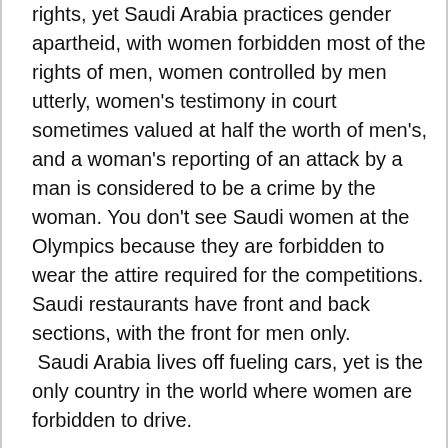rights, yet Saudi Arabia practices gender apartheid, with women forbidden most of the rights of men, women controlled by men utterly, women's testimony in court sometimes valued at half the worth of men's, and a woman's reporting of an attack by a man is considered to be a crime by the woman. You don't see Saudi women at the Olympics because they are forbidden to wear the attire required for the competitions. Saudi restaurants have front and back sections, with the front for men only.  Saudi Arabia lives off fueling cars, yet is the only country in the world where women are forbidden to drive.
Are Saudi's made happy by their sadistic society? There are many indications otherwise, including emigration, travel, courageous protest, and including this: men who practice polygamy in Saudi Arabia are four times more likely to